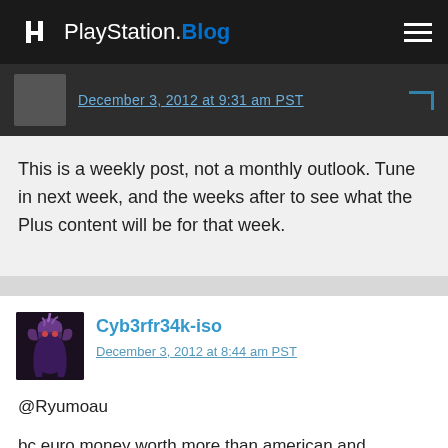PlayStation.Blog
December 3, 2012 at 9:31 am PST
This is a weekly post, not a monthly outlook. Tune in next week, and the weeks after to see what the Plus content will be for that week.
Cyb3rfr34k-iso
December 3, 2012 at 8:44 am PST
@Ryumoau

bc euro money worth more than american and canadian $